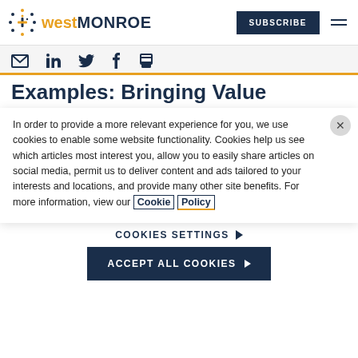west MONROE — SUBSCRIBE
[Figure (logo): West Monroe logo with dotted circle icon, 'west' in gold and 'MONROE' in dark navy uppercase]
Social share icons: email, LinkedIn, Twitter, Facebook, print
Examples: Bringing Value
In order to provide a more relevant experience for you, we use cookies to enable some website functionality. Cookies help us see which articles most interest you, allow you to easily share articles on social media, permit us to deliver content and ads tailored to your interests and locations, and provide many other site benefits. For more information, view our Cookie Policy
COOKIES SETTINGS ▶
ACCEPT ALL COOKIES ▶